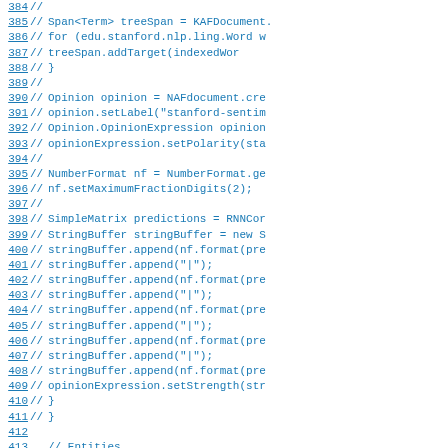[Figure (screenshot): Source code listing showing Java code lines 384-415 with line numbers and comment markers, including code for Span, Opinion, NumberFormat, SimpleMatrix, StringBuffer operations, and entity iteration.]